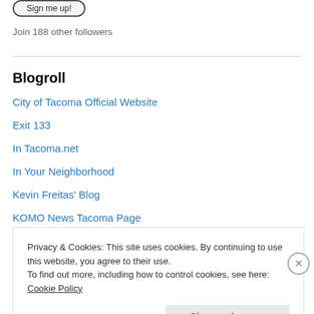[Figure (other): A rounded rectangle button with text 'Sign me up!' partially visible at top]
Join 188 other followers
Blogroll
City of Tacoma Official Website
Exit 133
In Tacoma.net
In Your Neighborhood
Kevin Freitas' Blog
KOMO News Tacoma Page
Lights & Sirens
Privacy & Cookies: This site uses cookies. By continuing to use this website, you agree to their use.
To find out more, including how to control cookies, see here: Cookie Policy
Close and accept